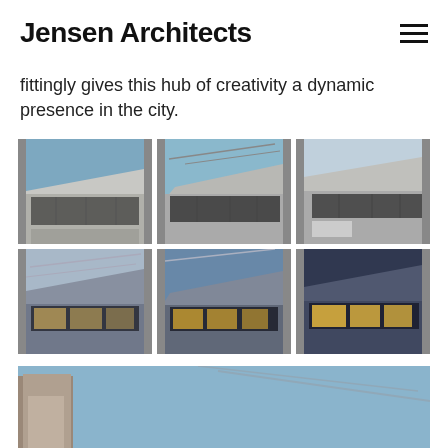Jensen Architects
fittingly gives this hub of creativity a dynamic presence in the city.
[Figure (photo): Grid of 6 architectural photos showing a concrete/metal building with angled roof and large windows, top row in daylight, bottom row at dusk/night with interior lights glowing]
[Figure (photo): Partial view of a building exterior with textured facade against a blue sky, with diagonal power lines visible]